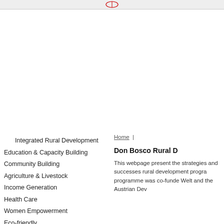Integrated Rural Development
Education & Capacity Building
Community Building
Agriculture & Livestock
Income Generation
Health Care
Women Empowerment
Eco-friendly
Home |
Don Bosco Rural D
This webpage present the strategies and successes rural development progra programme was co-funde Welt and the Austrian Dev